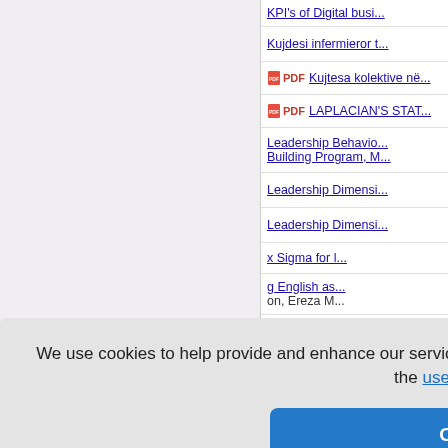[Figure (screenshot): Left gray panel of a website listing page, partially visible]
KPI's of Digital busi...
Kujdesi infermieror t...
PDF  Kujtesa kolektive në...
PDF  LAPLACIAN'S STAT...
Leadership Behavio... Building Program, M...
Leadership Dimensi...
Leadership Dimensi...
x Sigma for l...
g English as... on, Ereza M...
g English as... on, Ereza M...
Least cost power su...
We use cookies to help provide and enhance our service and tailor content. By closing this message, you agree to the use of cookies.
Close